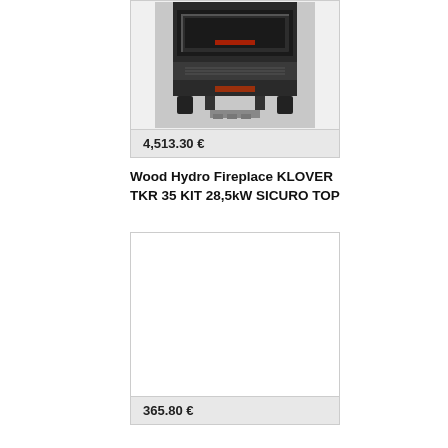[Figure (photo): Photo of a Wood Hydro Fireplace KLOVER TKR 35 KIT — a dark/black wood-burning fireplace insert with glass door, heating elements below, and stand-off legs, shown from the front.]
4,513.30 €
Wood Hydro Fireplace KLOVER TKR 35 KIT 28,5kW SICURO TOP
[Figure (photo): Empty product image placeholder (white box with border).]
365.80 €